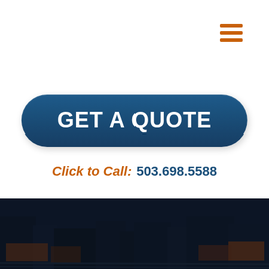[Figure (illustration): Hamburger menu icon with three orange horizontal lines in top-right corner]
GET A QUOTE
Click to Call: 503.698.5588
[Figure (photo): Dark industrial rail yard or freight yard photo at bottom of page]